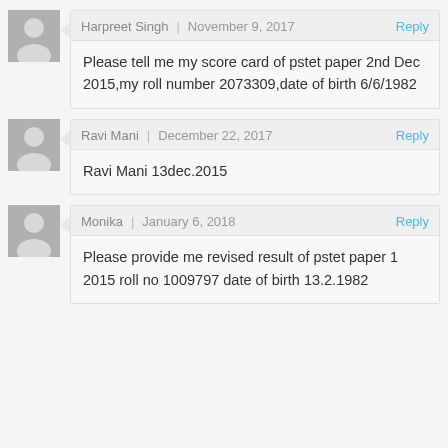Harpreet Singh | November 9, 2017 Reply
Please tell me my score card of pstet paper 2nd Dec 2015,my roll number 2073309,date of birth 6/6/1982
Ravi Mani | December 22, 2017 Reply
Ravi Mani 13dec.2015
Monika | January 6, 2018 Reply
Please provide me revised result of pstet paper 1 2015 roll no 1009797 date of birth 13.2.1982